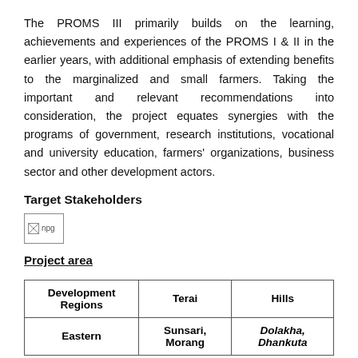The PROMS III primarily builds on the learning, achievements and experiences of the PROMS I & II in the earlier years, with additional emphasis of extending benefits to the marginalized and small farmers. Taking the important and relevant recommendations into consideration, the project equates synergies with the programs of government, research institutions, vocational and university education, farmers' organizations, business sector and other development actors.
Target Stakeholders
[Figure (photo): Small broken image placeholder labeled 'npg']
Project area
| Development Regions | Terai | Hills |
| --- | --- | --- |
| Eastern | Sunsari, Morang | Dolakha, Dhankuta |